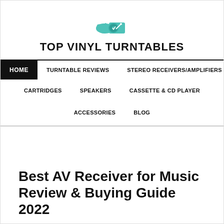[Figure (logo): Teal/green gramophone turntable icon]
TOP VINYL TURNTABLES
HOME | TURNTABLE REVIEWS | STEREO RECEIVERS/AMPLIFIERS | CARTRIDGES | SPEAKERS | CASSETTE & CD PLAYER | ACCESSORIES | BLOG
Best AV Receiver for Music Review & Buying Guide 2022